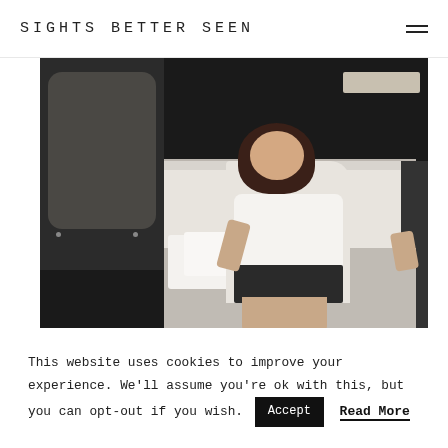SIGHTS BETTER SEEN
[Figure (photo): Woman sitting on lower bunk of a van bunk bed interior, smiling, wearing white off-shoulder top and dark shorts, with pillows visible, dark grey padded panels on left side]
This website uses cookies to improve your experience. We'll assume you're ok with this, but you can opt-out if you wish. Accept Read More